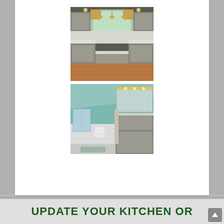[Figure (photo): Interior photo of a renovated kitchen with gray cabinets, kitchen island with light countertop, window above sink, hardwood floors, and recessed lighting]
[Figure (photo): Interior photo of a renovated bathroom with teal/mint green walls, gray painted cabinets, large mirror, white tile wainscoting, toilet, and light tile floors]
UPDATE YOUR KITCHEN OR